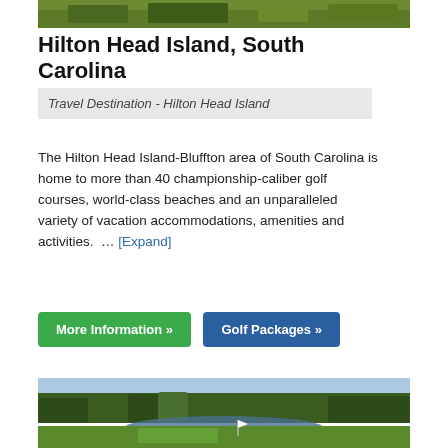[Figure (photo): Top portion of a landscape/nature photo with green grass and trees at Hilton Head Island]
Hilton Head Island, South Carolina
Travel Destination - Hilton Head Island
The Hilton Head Island-Bluffton area of South Carolina is home to more than 40 championship-caliber golf courses, world-class beaches and an unparalleled variety of vacation accommodations, amenities and activities. … [Expand]
More Information » | Golf Packages »
[Figure (photo): Bottom photo showing a golf course with trees, water hazard, and green at Hilton Head Island]